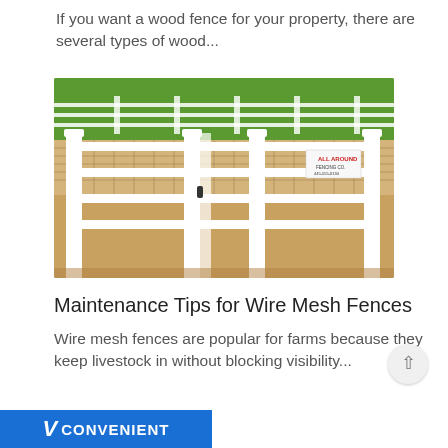If you want a wood fence for your property, there are several types of wood...
[Figure (photo): White vinyl/wood ranch fence with wire mesh panels surrounding a dirt and grass paddock area. A gate is visible in the center. A sign reading 'ALL AROUND' is on the right side.]
Maintenance Tips for Wire Mesh Fences
Wire mesh fences are popular for farms because they keep livestock in without blocking visibility...